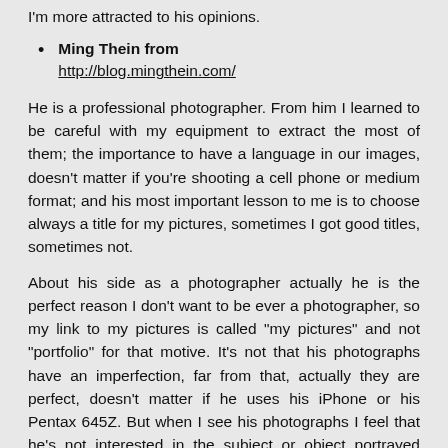I'm more attracted to his opinions.
Ming Thein from http://blog.mingthein.com/
He is a professional photographer. From him I learned to be careful with my equipment to extract the most of them; the importance to have a language in our images, doesn't matter if you're shooting a cell phone or medium format; and his most important lesson to me is to choose always a title for my pictures, sometimes I got good titles, sometimes not.
About his side as a photographer actually he is the perfect reason I don't want to be ever a photographer, so my link to my pictures is called “my pictures” and not “portfolio” for that motive. It’s not that his photographs have an imperfection, far from that, actually they are perfect, doesn't matter if he uses his iPhone or his Pentax 645Z. But when I see his photographs I feel that he's not interested in the subject or object portrayed beyond a medium to get a